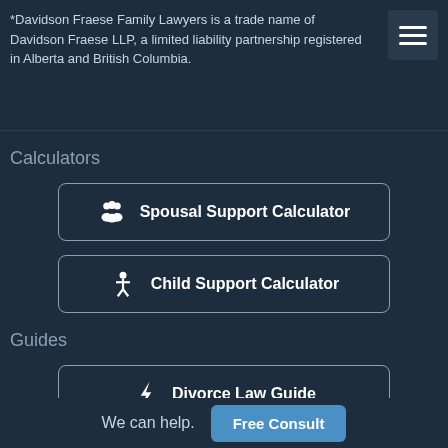*Davidson Fraese Family Lawyers is a trade name of Davidson Fraese LLP, a limited liability partnership registered in Alberta and British Columbia.
Calculators
Spousal Support Calculator
Child Support Calculator
Guides
Divorce Law Guide
We can help.  Free Consult